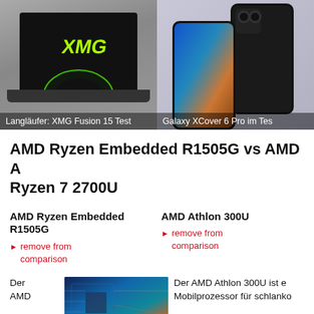[Figure (photo): XMG Fusion 15 laptop with green XMG logo on dark screen, two-tone background]
Langläufer: XMG Fusion 15 Test
[Figure (photo): Samsung Galaxy XCover 6 Pro smartphone shown from back and front at an angle]
Galaxy XCover 6 Pro im Test
AMD Ryzen Embedded R1505G vs AMD A Ryzen 7 2700U
AMD Ryzen Embedded R1505G
remove from comparison
AMD Athlon 300U
remove from comparison
Der AMD
[Figure (photo): Close-up of a computer chip/processor circuit board with colorful blue and orange tones]
Der AMD Athlon 300U ist e Mobilprozessor für schlanko Notebooks. Der S...